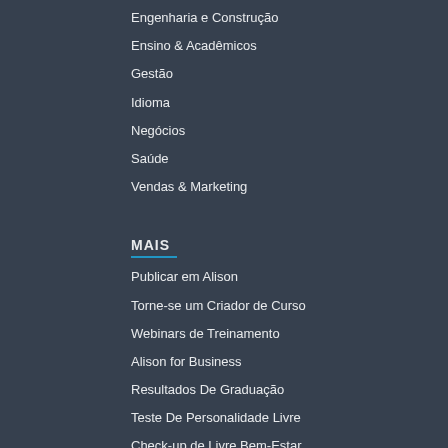Engenharia e Construção
Ensino & Acadêmicos
Gestão
Idioma
Negócios
Saúde
Vendas & Marketing
MAIS
Publicar em Alison
Torne-se um Criador de Curso
Webinars de Treinamento
Alison for Business
Resultados De Graduação
Teste De Personalidade Livre
Check-up de Livre Bem-Estar
Centro de mídia
Programa de Afiliados